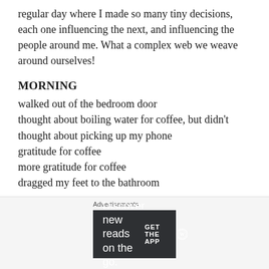regular day where I made so many tiny decisions, each one influencing the next, and influencing the people around me. What a complex web we weave around ourselves!
MORNING
walked out of the bedroom door
thought about boiling water for coffee, but didn’t
thought about picking up my phone
gratitude for coffee
more gratitude for coffee
dragged my feet to the bathroom
Advertisements
Discover new reads on the go. GET THE APP